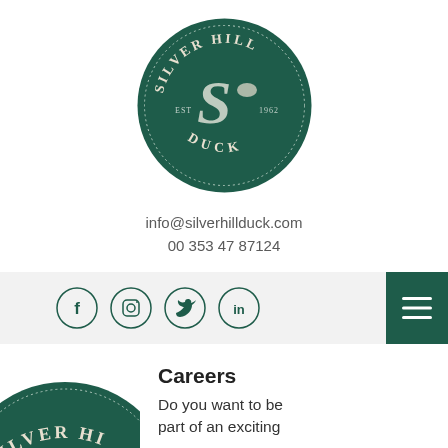[Figure (logo): Silver Hill Duck circular logo — dark green circle with duck/swan illustration, text 'SILVER HILL' arced at top, 'DUCK' at bottom, 'EST' and '1962' on sides]
info@silverhillduck.com
00 353 47 87124
[Figure (infographic): Navigation bar with social media icons: Facebook, Instagram, Twitter, LinkedIn, and a hamburger menu button on the right]
[Figure (logo): Partial Silver Hill Duck circular logo at bottom left, cropped]
Careers
Do you want to be part of an exciting